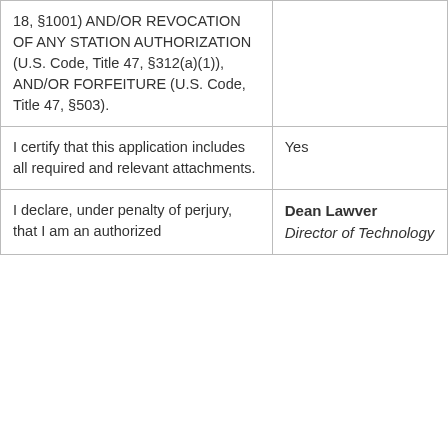| 18, §1001) AND/OR REVOCATION OF ANY STATION AUTHORIZATION (U.S. Code, Title 47, §312(a)(1)), AND/OR FORFEITURE (U.S. Code, Title 47, §503). |  |
| I certify that this application includes all required and relevant attachments. | Yes |
| I declare, under penalty of perjury, that I am an authorized | Dean Lawver
Director of Technology |